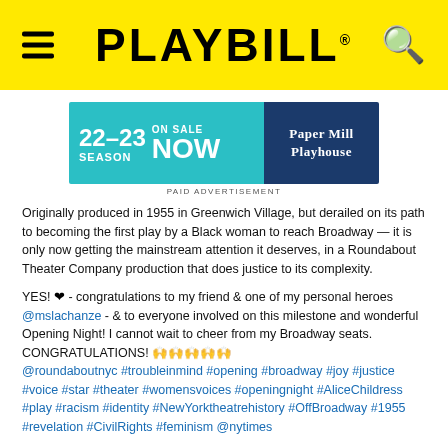PLAYBILL
[Figure (illustration): Paper Mill Playhouse advertisement banner: '22-23 SEASON ON SALE NOW' in teal/blue colors with Paper Mill Playhouse logo on dark blue right side]
PAID ADVERTISEMENT
Originally produced in 1955 in Greenwich Village, but derailed on its path to becoming the first play by a Black woman to reach Broadway — it is only now getting the mainstream attention it deserves, in a Roundabout Theater Company production that does justice to its complexity.
YES! ♥ - congratulations to my friend & one of my personal heroes @mslachanze - & to everyone involved on this milestone and wonderful Opening Night! I cannot wait to cheer from my Broadway seats. CONGRATULATIONS! 🙌🙌🙌🙌🙌 @roundaboutnyc #troubleinmind #opening #broadway #joy #justice #voice #star #theater #womensvoices #openingnight #AliceChildress #play #racism #identity #NewYorktheatrehistory #OffBroadway #1955 #revelation #CivilRights #feminism @nytimes